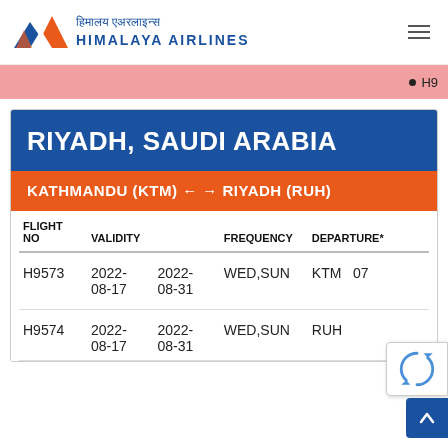[Figure (logo): Himalaya Airlines logo with mountain graphic and Hindi/English text]
RIYADH, SAUDI ARABIA
KATHMANDU (KTM) ← → RIYADH (RUH)
| FLIGHT NO | VALIDITY |  | FREQUENCY | DEPARTURE* |
| --- | --- | --- | --- | --- |
| H9573 | 2022-08-17 | 2022-08-31 | WED,SUN | KTM | 07... |
| H9574 | 2022-08-17 | 2022-08-31 | WED,SUN | RUH | ... |